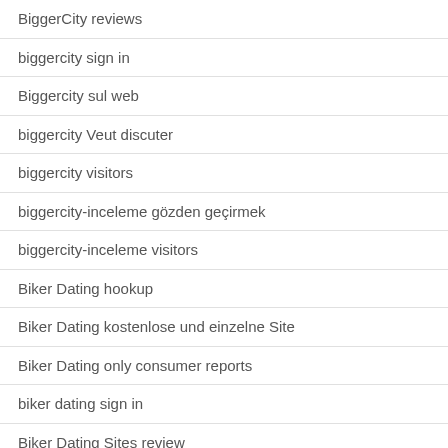BiggerCity reviews
biggercity sign in
Biggercity sul web
biggercity Veut discuter
biggercity visitors
biggercity-inceleme gözden geçirmek
biggercity-inceleme visitors
Biker Dating hookup
Biker Dating kostenlose und einzelne Site
Biker Dating only consumer reports
biker dating sign in
Biker Dating Sites review